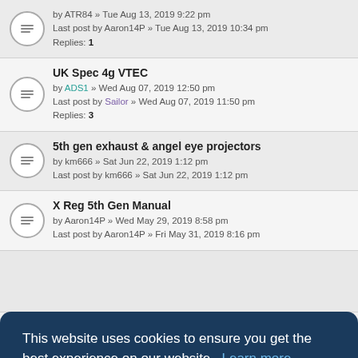by ATR84 » Tue Aug 13, 2019 9:22 pm
Last post by Aaron14P » Tue Aug 13, 2019 10:34 pm
Replies: 1
UK Spec 4g VTEC
by ADS1 » Wed Aug 07, 2019 12:50 pm
Last post by Sailor » Wed Aug 07, 2019 11:50 pm
Replies: 3
5th gen exhaust & angel eye projectors
by km666 » Sat Jun 22, 2019 1:12 pm
Last post by km666 » Sat Jun 22, 2019 1:12 pm
X Reg 5th Gen Manual
by Aaron14P » Wed May 29, 2019 8:58 pm
Last post by Aaron14P » Fri May 31, 2019 8:16 pm
This website uses cookies to ensure you get the best experience on our website. Learn more
Got it!
by someone » Fri Nov 30 2018 1:05pm
Last post by ATR84 » Sat Nov 24, 2018 1:39 pm